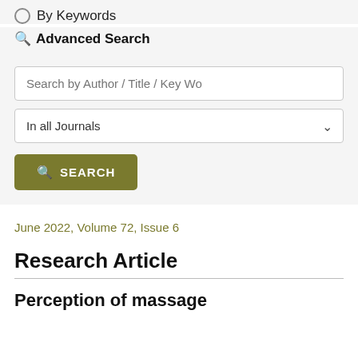By Keywords
Advanced Search
Search by Author / Title / Key Wo
In all Journals
SEARCH
June 2022, Volume 72, Issue 6
Research Article
Perception of massage